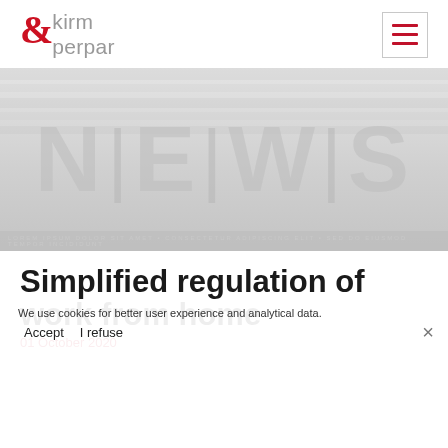[Figure (logo): Etkirm Perpar law firm logo with red ampersand/Et symbol and gray text]
[Figure (screenshot): News banner image with large faded 'N|E|W|S' text on gray background]
Simplified regulation of work from home
01 October 2020
We use cookies for better user experience and analytical data. Accept  I refuse